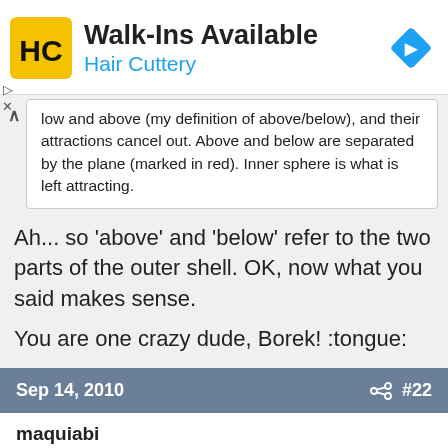[Figure (logo): Hair Cuttery advertisement banner with HC logo, Walk-Ins Available text, and navigation diamond icon]
low and above (my definition of above/below), and their attractions cancel out. Above and below are separated by the plane (marked in red). Inner sphere is what is left attracting.
Ah... so 'above' and 'below' refer to the two parts of the outer shell. OK, now what you said makes sense.

You are one crazy dude, Borek! :tongue:
Sep 14, 2010   #22
maquiabi